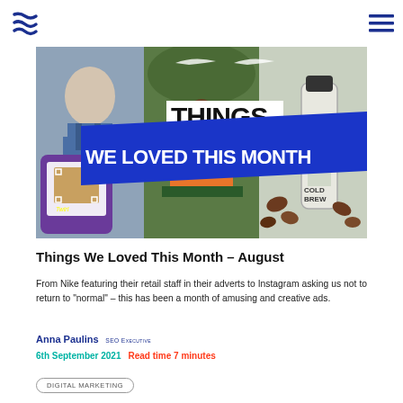[Figure (photo): Hero image collage: 'Things We Loved This Month' text on blue diagonal banner over composite of Nike retail ad images, Instagram post, and cold brew coffee bottle]
Things We Loved This Month – August
From Nike featuring their retail staff in their adverts to Instagram asking us not to return to "normal" – this has been a month of amusing and creative ads.
Anna Paulins SEO Executive
6th September 2021 Read time 7 minutes
DIGITAL MARKETING